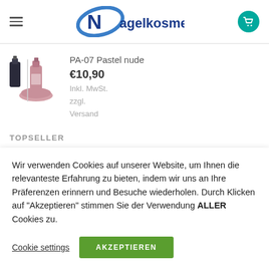Nagelkosmetik
[Figure (photo): Product image of PA-07 Pastel nude nail polish bottles]
PA-07 Pastel nude
€10,90
Inkl. MwSt.
zzgl.
Versand
TOPSELLER
Wir verwenden Cookies auf unserer Website, um Ihnen die relevanteste Erfahrung zu bieten, indem wir uns an Ihre Präferenzen erinnern und Besuche wiederholen. Durch Klicken auf "Akzeptieren" stimmen Sie der Verwendung ALLER Cookies zu.
Cookie settings
AKZEPTIEREN